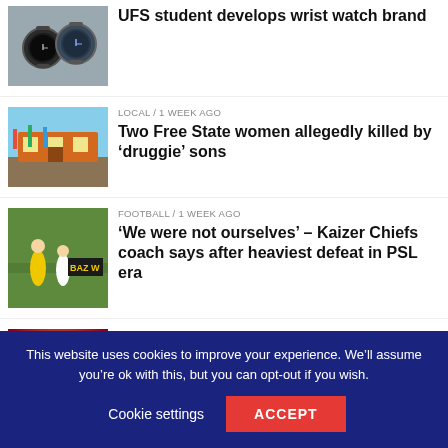[Figure (photo): Two wrist watches on a surface]
UFS student develops wrist watch brand
[Figure (photo): Building with flags - local news]
LOCAL / 1 week ago
Two Free State women allegedly killed by ‘druggie’ sons
[Figure (photo): Football match action - players in yellow and white]
FOOTBALL / 1 week ago
‘We were not ourselves’ – Kaizer Chiefs coach says after heaviest defeat in PSL era
[Figure (photo): Woman in pageant crown and sash on stage]
SHOWBIZ / 1 week ago
Ndavi Nokeri crowned Miss South Africa 2022
[Figure (photo): Property - palm trees]
PROPERTY / 1 week ago
This website uses cookies to improve your experience. We’ll assume you’re ok with this, but you can opt-out if you wish.
Cookie settings
ACCEPT